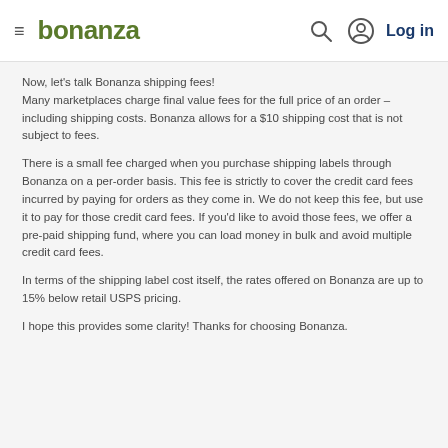bonanza  Log in
Now, let's talk Bonanza shipping fees! Many marketplaces charge final value fees for the full price of an order – including shipping costs. Bonanza allows for a $10 shipping cost that is not subject to fees.
There is a small fee charged when you purchase shipping labels through Bonanza on a per-order basis. This fee is strictly to cover the credit card fees incurred by paying for orders as they come in. We do not keep this fee, but use it to pay for those credit card fees. If you'd like to avoid those fees, we offer a pre-paid shipping fund, where you can load money in bulk and avoid multiple credit card fees.
In terms of the shipping label cost itself, the rates offered on Bonanza are up to 15% below retail USPS pricing.
I hope this provides some clarity! Thanks for choosing Bonanza.